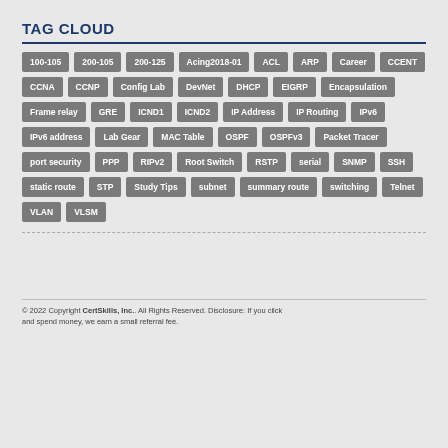TAG CLOUD
100-105, 200-105, 200-125, Acing2018-01, ACL, ARP, Career, CCENT, CCNA, CCNP, Config Lab, DevNet, DHCP, EIGRP, Encapsulation, Frame relay, GRE, ICND1, ICND2, IP Address, IP Routing, IPv6, IPv6 address, Lab Gear, MAC Table, OSPF, OSPFv3, Packet Tracer, port security, PPP, RIPv2, Root Switch, RSTP, serial, SNMP, SSH, static route, STP, Study Tips, subnet, summary route, switching, Telnet, VLAN, VLSM
© 2022 Copyright CertSkills, Inc.. All Rights Reserved. Disclosure: If you click and spend money, we earn a small referral fee.